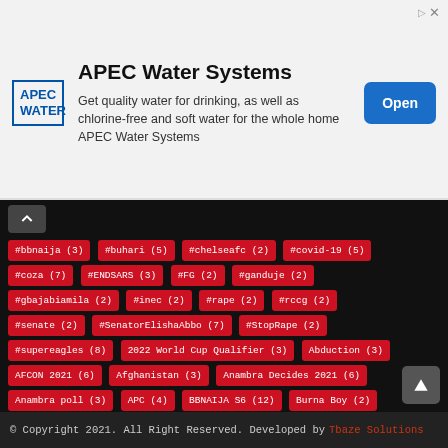[Figure (other): APEC Water Systems advertisement banner with logo, description text, and Open button]
#bbnaija (3)
#buhari (5)
#chelseafc (2)
#covid-19 (5)
#coza (7)
#ENDSARS (3)
#FG (2)
#ganduje (2)
#gbajabiamila (2)
#inec (2)
#rape (2)
#rccg (2)
#senate (2)
#SenatorElishaAbbo (7)
#StopRape (2)
#supereagles (8)
2022 World Cup Qualifier (3)
Abduction (3)
AFCON 2021 (6)
Afghanistan (3)
Anambra Decides 2021 (6)
Anambra poll (3)
APC (4)
BBNAIJA S6 (12)
Burna Boy (2)
Champions League (3)
Covid-19 vaccine certificate (3)
EFCC (7)
© Copyright 2021. All Right Reserved. Developed by Tbaze Solutions